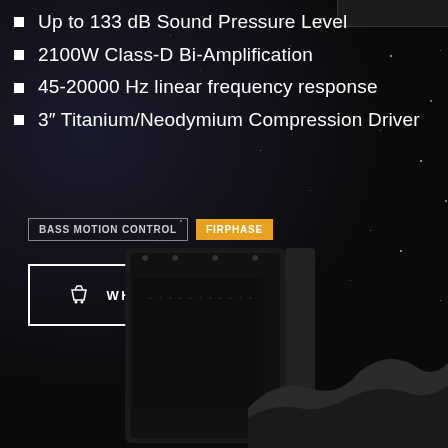Up to 133 dB Sound Pressure Level
2100W Class-D Bi-Amplification
45-20000 Hz linear frequency response
3″ Titanium/Neodymium Compression Driver
BASS MOTION CONTROL
FIRPHASE
WHERE TO BUY
[Figure (photo): Black professional loudspeaker/PA speaker cabinet with mesh grille, viewed slightly from the front-right angle, on dark starfield background]
[Figure (illustration): Rocky lunar/asteroid surface ground in lower right corner of image]